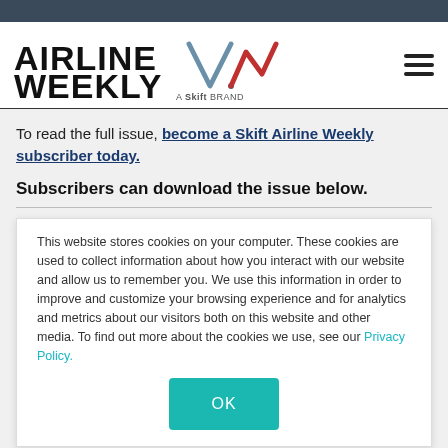[Figure (logo): Airline Weekly logo with stylized mountain/wave graphic and 'A Skift Brand' tagline]
To read the full issue, become a Skift Airline Weekly subscriber today.
Subscribers can download the issue below.
This website stores cookies on your computer. These cookies are used to collect information about how you interact with our website and allow us to remember you. We use this information in order to improve and customize your browsing experience and for analytics and metrics about our visitors both on this website and other media. To find out more about the cookies we use, see our Privacy Policy.